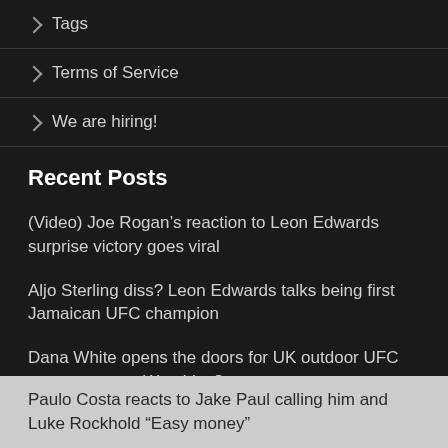Tags
Terms of Service
We are hiring!
Recent Posts
(Video) Joe Rogan’s reaction to Leon Edwards surprise victory goes viral
Aljo Sterling diss? Leon Edwards talks being first Jamaican UFC champion
Dana White opens the doors for UK outdoor UFC event – teases Wembley?
Costa says Rockhold’s blood smear tops the list of weirdest Rockhold moments over Romero kiss
Paulo Costa reacts to Jake Paul calling him and Luke Rockhold “Easy money”